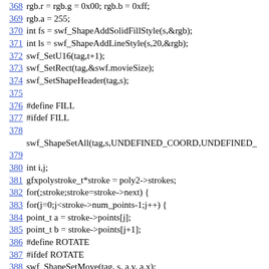368    rgb.r = rgb.g = 0x00; rgb.b = 0xff;
369        rgb.a = 255;
370        int fs = swf_ShapeAddSolidFillStyle(s,&rgb);
371        int ls = swf_ShapeAddLineStyle(s,20,&rgb);
372        swf_SetU16(tag,t+1);
373        swf_SetRect(tag,&swf.movieSize);
374        swf_SetShapeHeader(tag,s);
375
376 #define FILL
377 #ifdef FILL
378
swf_ShapeSetAll(tag,s,UNDEFINED_COORD,UNDEFINED_
379
380        int i,j;
381        gfxpolystroke_t*stroke = poly2->strokes;
382        for(;stroke;stroke=stroke->next) {
383            for(j=0;j<stroke->num_points-1;j++) {
384                point_t a = stroke->points[j];
385                point_t b = stroke->points[j+1];
386 #define ROTATE
387 #ifdef ROTATE
388                swf_ShapeSetMove(tag, s, a.y, a.x);
389                swf_ShapeSetLine(tag, s, b.y - a.y, b.x - a.x);
390 #else
391                swf_ShapeSetMove(tag, s, a.x, a.y);
392                swf_ShapeSetLine(tag, s, a.x, a.y);